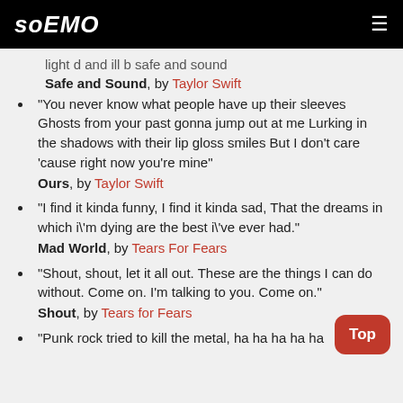soEMO
light d and ill b safe and sound
Safe and Sound, by Taylor Swift
"You never know what people have up their sleeves Ghosts from your past gonna jump out at me Lurking in the shadows with their lip gloss smiles But I don't care 'cause right now you're mine"
Ours, by Taylor Swift
"I find it kinda funny, I find it kinda sad, That the dreams in which i'm dying are the best i've ever had."
Mad World, by Tears For Fears
"Shout, shout, let it all out. These are the things I can do without. Come on. I'm talking to you. Come on."
Shout, by Tears for Fears
"Punk rock tried to kill the metal, ha ha ha ha ha